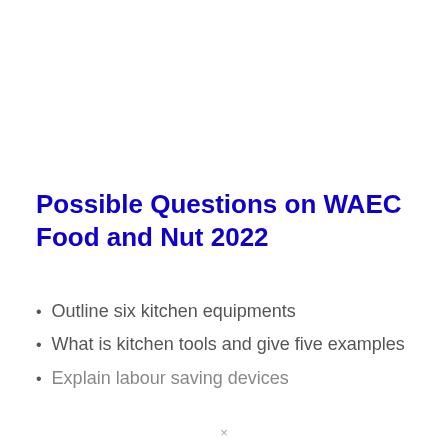Possible Questions on WAEC Food and Nut 2022
Outline six kitchen equipments
What is kitchen tools and give five examples
Explain labour saving devices